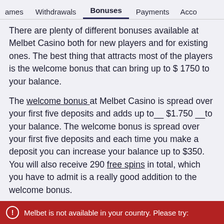Games  Withdrawals  Bonuses  Payments  Acco
There are plenty of different bonuses available at Melbet Casino both for new players and for existing ones. The best thing that attracts most of the players is the welcome bonus that can bring up to $ 1750 to your balance.
The welcome bonus at Melbet Casino is spread over your first five deposits and adds up to $1.750 to your balance. The welcome bonus is spread over your first five deposits and each time you make a deposit you can increase your balance up to $350. You will also receive 290 free spins in total, which you have to admit is a really good addition to the welcome bonus.
Before you can make a withdrawal you will have to meet the wagering requirements which are 40x for
Melbet is not available in your country. Please try: